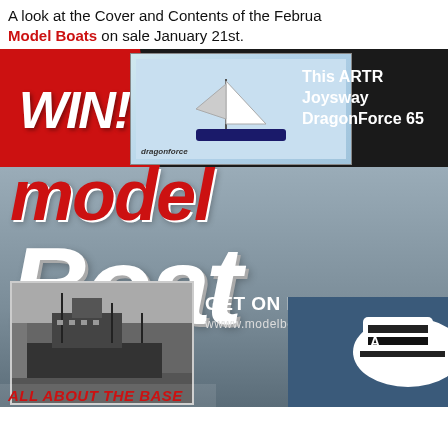A look at the Cover and Contents of the February Model Boats on sale January 21st.
[Figure (photo): Model Boats magazine cover featuring WIN! banner with ARTR Joyswway DragonForce 65 sailboat prize, model boats title in red/white, black and white ship photograph, GET ON BOARD text with website www.modelboats.co.uk, and white boat on right side. Bottom shows ALL ABOUT THE BASE text.]